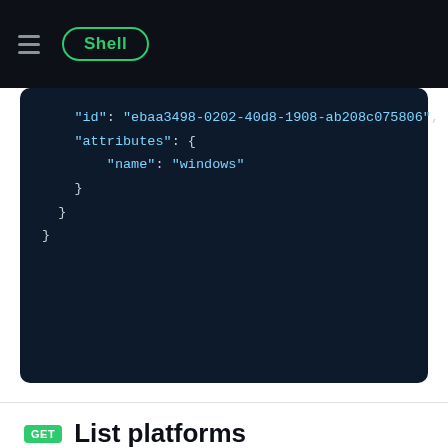[Figure (screenshot): Dark top navigation bar with hamburger menu icon and 'Shell' tab badge outlined in green]
[Figure (screenshot): Code block on dark background showing JSON with id 'ebaa3498-0202-40d8-1908-ab208c075806' and attributes with name 'windows']
GET List platforms
List all platforms for the given product.
Authentication
Bearer required